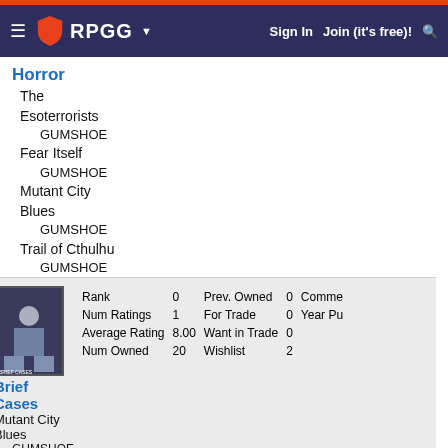RPGG — Sign In   Join (it's free)!
Horror
The Esoterroists
    GUMSHOE
Fear Itself
    GUMSHOE
Mutant City Blues
    GUMSHOE
Trail of Cthulhu
    GUMSHOE
| Rank | 0 | Prev. Owned | 0 | Comme... |
| --- | --- | --- | --- | --- |
| Num Ratings | 1 | For Trade | 0 | Year Pu... |
| Average Rating | 8.00 | Want in Trade | 0 |  |
| Num Owned | 20 | Wishlist | 2 |  |
Brief Cases
Mutant City Blues
    GUMSHOE
| Rank | 3230 | Prev. Owned | 2 | Comme... |
| --- | --- | --- | --- | --- |
| Num Ratings | 7 | For Trade | 0 | Year Pu... |